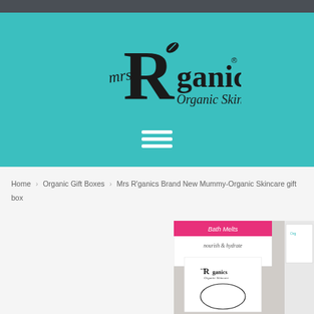[Figure (logo): Mrs R'ganics Organic Skincare logo — large stylized R with leaf, 'mrs' in cursive, 'ganics' in bold, 'Organic Skincare' in italic script, on teal background with hamburger menu icon below]
Home › Organic Gift Boxes › Mrs R'ganics Brand New Mummy-Organic Skincare gift box
[Figure (photo): Product photo showing Mrs R'ganics gift box contents including Bath Melts packaging with pink label and illustrated card with new mummy design]